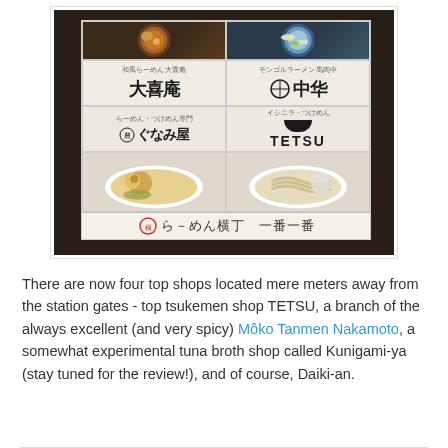[Figure (photo): Photo of a Japanese ramen shop flyer featuring four ramen restaurants: Daiki-an, Chuka (中華), Kunigami-ya (ぐなみ屋), and TETSU tsukemen shop, with food photographs and Japanese logos, plus a footer banner for らーめん横丁 (Ramen Yokocho)]
There are now four top shops located mere meters away from the station gates - top tsukemen shop TETSU, a branch of the always excellent (and very spicy) Môko Tanmen Nakamoto, a somewhat experimental tuna broth shop called Kunigami-ya (stay tuned for the review!), and of course, Daiki-an.